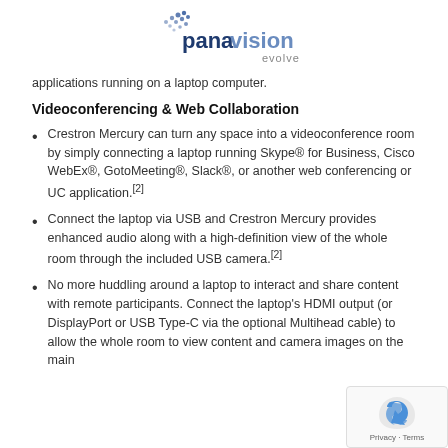[Figure (logo): Panavision Evolve logo — dotted motif with 'panavision' in dark blue and 'evolve' in grey]
applications running on a laptop computer.
Videoconferencing & Web Collaboration
Crestron Mercury can turn any space into a videoconference room by simply connecting a laptop running Skype® for Business, Cisco WebEx®, GotoMeeting®, Slack®, or another web conferencing or UC application.[2]
Connect the laptop via USB and Crestron Mercury provides enhanced audio along with a high-definition view of the whole room through the included USB camera.[2]
No more huddling around a laptop to interact and share content with remote participants. Connect the laptop's HDMI output (or DisplayPort or USB Type-C via the optional Multihead cable) to allow the whole room to view content and camera images on the main